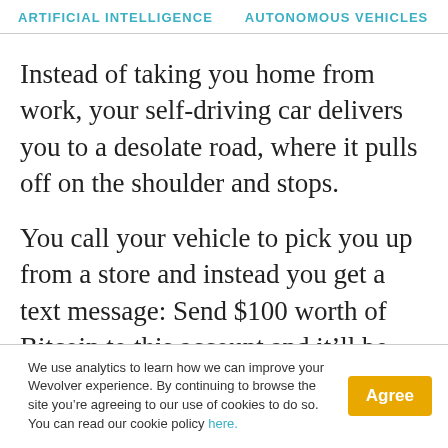ARTIFICIAL INTELLIGENCE   AUTONOMOUS VEHICLES   RO...
Instead of taking you home from work, your self-driving car delivers you to a desolate road, where it pulls off on the shoulder and stops.
You call your vehicle to pick you up from a store and instead you get a text message: Send $100 worth of Bitcoin to this account and it’ll be right
We use analytics to learn how we can improve your Wevolver experience. By continuing to browse the site you’re agreeing to our use of cookies to do so. You can read our cookie policy here.